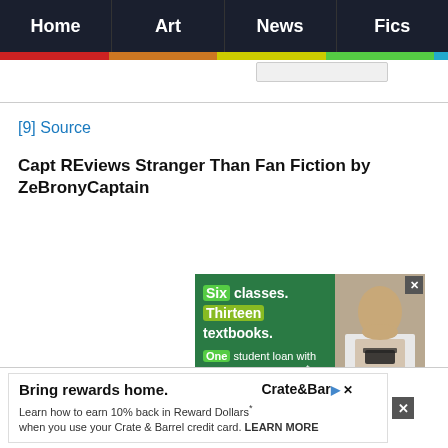Home | Art | News | Fics
[9] Source
Capt REviews Stranger Than Fan Fiction by ZeBronyCaptain
[Figure (photo): Advertisement: Six classes. Thirteen textbooks. One student loan with Multi-Year Approval could pay for every... with photo of woman with glasses]
[Figure (screenshot): Advertisement: Bring rewards home. Crate & Barrel. Learn how to earn 10% back in Reward Dollars when you use your Crate & Barrel credit card. LEARN MORE]